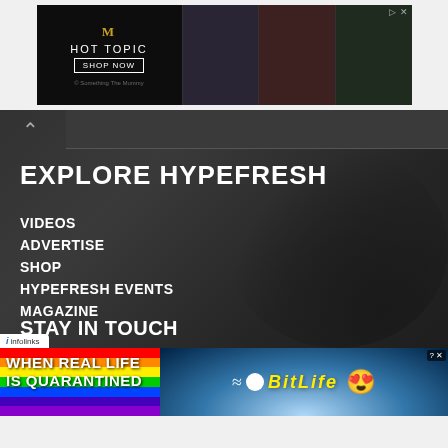[Figure (screenshot): Hot Topic advertisement banner showing The Mummy logo, fashion items, and Shop Now button]
[Figure (screenshot): HypeFresh website navigation section with dark textured background showing explore menu]
EXPLORE HYPEFRESH
VIDEOS
ADVERTISE
SHOP
HYPEFRESH EVENTS
MAGAZINE
STAY IN TOUCH
[Figure (screenshot): BitLife advertisement: 'When Real Life is Quarantined' with rainbow background and BitLife logo]